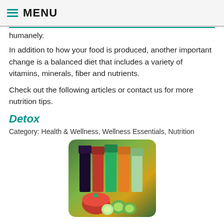MENU
humanely.
In addition to how your food is produced, another important change is a balanced diet that includes a variety of vitamins, minerals, fiber and nutrients.
Check out the following articles or contact us for more nutrition tips.
Detox
Category: Health & Wellness, Wellness Essentials, Nutrition
[Figure (photo): Photo of colorful fruit and vegetable juices/smoothies in glasses with fresh produce including tomatoes and cucumber]
Every person should cleanse the system of toxins and let the digestive tract rest at least once each year. Cleansing is one of the most direct and effective ways to improve your overall health quickly. Free radicals in your body